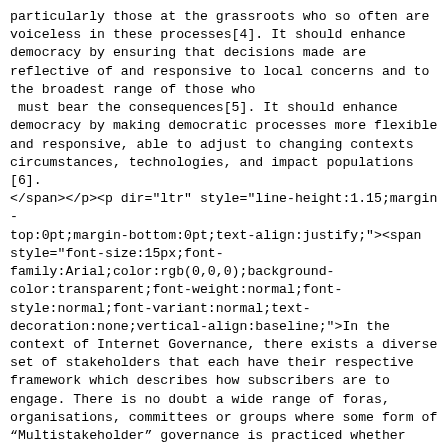particularly those at the grassroots who so often are voiceless in these processes[4]. It should enhance democracy by ensuring that decisions made are reflective of and responsive to local concerns and to the broadest range of those who
 must bear the consequences[5]. It should enhance democracy by making democratic processes more flexible and responsive, able to adjust to changing contexts circumstances, technologies, and impact populations[6].
</span></p><p dir="ltr" style="line-height:1.15;margin-top:0pt;margin-bottom:0pt;text-align:justify;"><span style="font-size:15px;font-family:Arial;color:rgb(0,0,0);background-color:transparent;font-weight:normal;font-style:normal;font-variant:normal;text-decoration:none;vertical-align:baseline;">In the context of Internet Governance, there exists a diverse set of stakeholders that each have their respective framework which describes how subscribers are to engage. There is no doubt a wide range of foras, organisations, committees or groups where some form of “Multistakeholder” governance is practiced whether various modes of vehicles including but not limited to that of a Trust, Corporation, Organisation, Intergovernmental Forum, an
 International Organisation or an ad hoc community.
</span></p><p dir="ltr" style="line-height:1.15;margin-top:0pt;margin-bottom:0pt;text-align:justify;"><span style="font-size:15px;font-family:Arial;color:rgb(0,0,0);background-